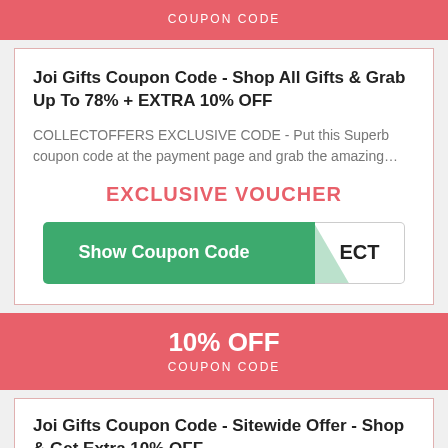COUPON CODE
Joi Gifts Coupon Code - Shop All Gifts & Grab Up To 78% + EXTRA 10% OFF
COLLECTOFFERS EXCLUSIVE CODE - Put this Superb coupon code at the payment page and grab the amazing…
EXCLUSIVE VOUCHER
[Figure (other): Show Coupon Code button with ECT label on right side]
10% OFF COUPON CODE
Joi Gifts Coupon Code - Sitewide Offer - Shop & Get Extra 10% OFF